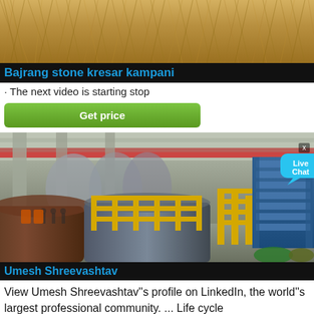[Figure (photo): Close-up photo of dry grass or straw field from above]
Bajrang stone kresar kampani
· The next video is starting stop
Get price
[Figure (photo): Industrial factory interior with large machinery, ball mills, cranes with red beam, and blue industrial equipment. A 'Live Chat' bubble is visible on the right side.]
Umesh Shreevashtav
View Umesh Shreevashtav''s profile on LinkedIn, the world''s largest professional community. ... Life cycle